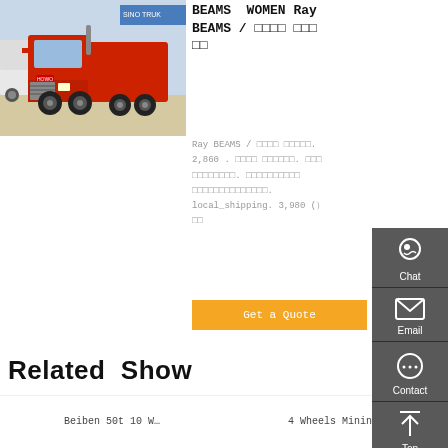[Figure (photo): Red heavy-duty truck (tractor unit) parked in a lot with other trucks in the background]
BEAMS WOMEN Ray BEAMS / ビームス ウィメン レイ ビームス
Ray BEAMS / レイビームス。2,860 . ビームス による最高品質のコレクション. 商品詳細 ビームスウィメン。レイビームスコレクション。. local_shipping. 3,980 (）以上
Get a Quote
Related Show
Beiben 50t 10 W…
4 Wheels Mining…